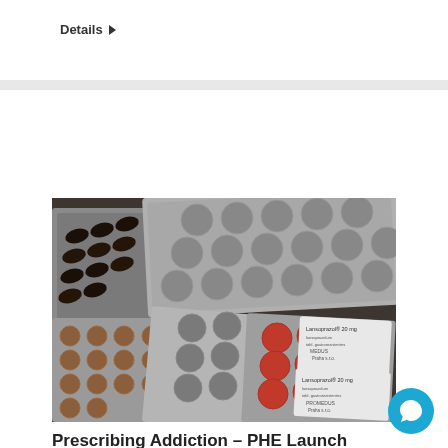Details ▶
[Figure (photo): Various blister packs of pills and tablets in different colors including grey, brown/red, and dark capsules scattered on a surface with pharmaceutical packaging]
Prescribing Addiction – PHE Launch Independent Review
Uncategorized • By Rob Beaton • February 2, 2018 •
Leave a comment